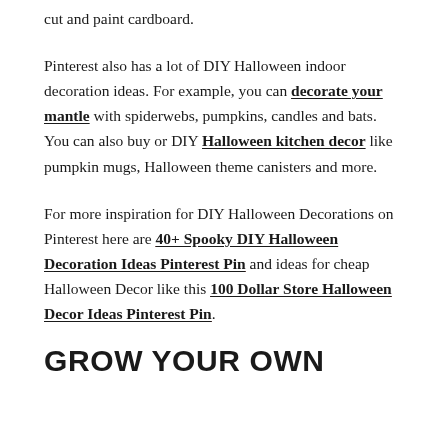cut and paint cardboard.
Pinterest also has a lot of DIY Halloween indoor decoration ideas. For example, you can decorate your mantle with spiderwebs, pumpkins, candles and bats. You can also buy or DIY Halloween kitchen decor like pumpkin mugs, Halloween theme canisters and more.
For more inspiration for DIY Halloween Decorations on Pinterest here are 40+ Spooky DIY Halloween Decoration Ideas Pinterest Pin and ideas for cheap Halloween Decor like this 100 Dollar Store Halloween Decor Ideas Pinterest Pin.
GROW YOUR OWN